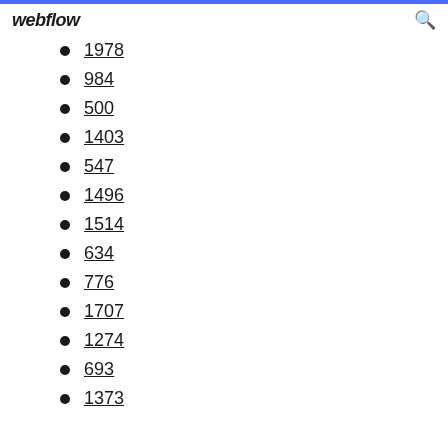webflow
1978
984
500
1403
547
1496
1514
634
776
1707
1274
693
1373